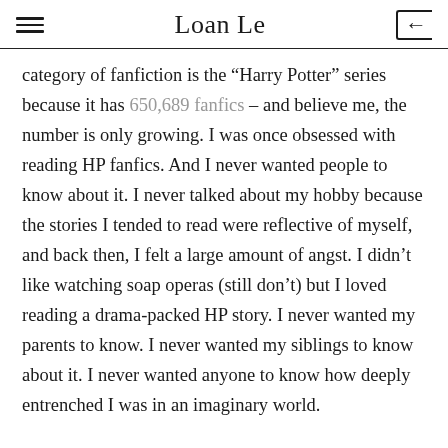Loan Le
category of fanfiction is the “Harry Potter” series because it has 650,689 fanfics – and believe me, the number is only growing. I was once obsessed with reading HP fanfics. And I never wanted people to know about it. I never talked about my hobby because the stories I tended to read were reflective of myself, and back then, I felt a large amount of angst. I didn’t like watching soap operas (still don’t) but I loved reading a drama-packed HP story. I never wanted my parents to know. I never wanted my siblings to know about it. I never wanted anyone to know how deeply entrenched I was in an imaginary world.